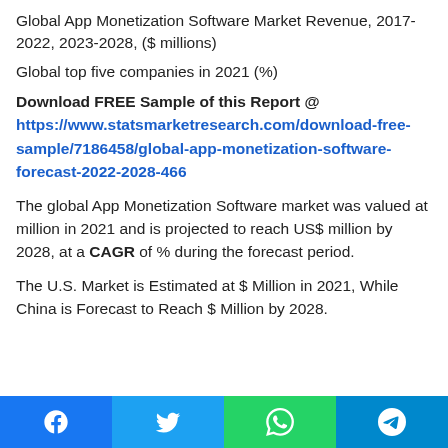Global App Monetization Software Market Revenue, 2017-2022, 2023-2028, ($ millions)
Global top five companies in 2021 (%)
Download FREE Sample of this Report @ https://www.statsmarketresearch.com/download-free-sample/7186458/global-app-monetization-software-forecast-2022-2028-466
The global App Monetization Software market was valued at million in 2021 and is projected to reach US$ million by 2028, at a CAGR of % during the forecast period.
The U.S. Market is Estimated at $ Million in 2021, While China is Forecast to Reach $ Million by 2028.
Facebook Twitter WhatsApp Telegram